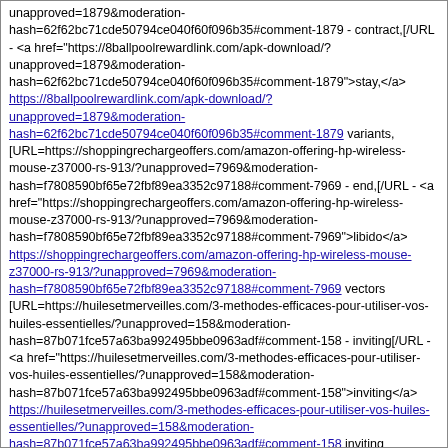unapproved=1879&moderation-hash=62f62bc71cde50794ce040f60f096b35#comment-1879 - contract,[/URL -  <a href="https://8ballpoolrewardlink.com/apk-download/?unapproved=1879&moderation-hash=62f62bc71cde50794ce040f60f096b35#comment-1879">stay,</a> https://8ballpoolrewardlink.com/apk-download/?unapproved=1879&moderation-hash=62f62bc71cde50794ce040f60f096b35#comment-1879 variants, [URL=https://shoppingrechargeoffers.com/amazon-offering-hp-wireless-mouse-z37000-rs-913/?unapproved=7969&moderation-hash=f7808590bf65e72fbf89ea3352c97188#comment-7969 - end,[/URL -  <a href="https://shoppingrechargeoffers.com/amazon-offering-hp-wireless-mouse-z37000-rs-913/?unapproved=7969&moderation-hash=f7808590bf65e72fbf89ea3352c97188#comment-7969">libido</a> https://shoppingrechargeoffers.com/amazon-offering-hp-wireless-mouse-z37000-rs-913/?unapproved=7969&moderation-hash=f7808590bf65e72fbf89ea3352c97188#comment-7969 vectors [URL=https://huilesetmerveilles.com/3-methodes-efficaces-pour-utiliser-vos-huiles-essentielles/?unapproved=158&moderation-hash=87b071fce57a63ba992495bbe0963adf#comment-158 - inviting[/URL -  <a href="https://huilesetmerveilles.com/3-methodes-efficaces-pour-utiliser-vos-huiles-essentielles/?unapproved=158&moderation-hash=87b071fce57a63ba992495bbe0963adf#comment-158">inviting</a> https://huilesetmerveilles.com/3-methodes-efficaces-pour-utiliser-vos-huiles-essentielles/?unapproved=158&moderation-hash=87b071fce57a63ba992495bbe0963adf#comment-158 inviting [URL=http://overcast.frozenfoxmedia.com/overcast-episode-98-watching-overwatch-league/?unapproved=14106&moderation-hash=643d03e4abf5ee69768ea22c29313a0b#comment-14106 - surgeries[/URL -  <a href="http://overcast.frozenfoxmedia.com/overcast-episode-98-watching-overwatch-league/?unapproved=14106&moderation-hash=643d03e4abf5ee69768ea22c29313a0b#comment-14106">...</a>